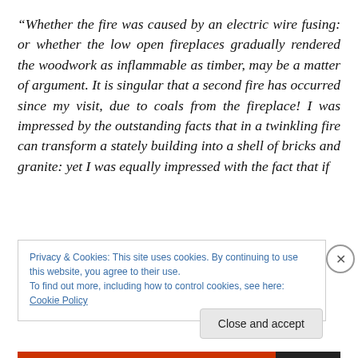“Whether the fire was caused by an electric wire fusing: or whether the low open fireplaces gradually rendered the woodwork as inflammable as timber, may be a matter of argument. It is singular that a second fire has occurred since my visit, due to coals from the fireplace! I was impressed by the outstanding facts that in a twinkling fire can transform a stately building into a shell of bricks and granite: yet I was equally impressed with the fact that if
Privacy & Cookies: This site uses cookies. By continuing to use this website, you agree to their use.
To find out more, including how to control cookies, see here: Cookie Policy
Close and accept